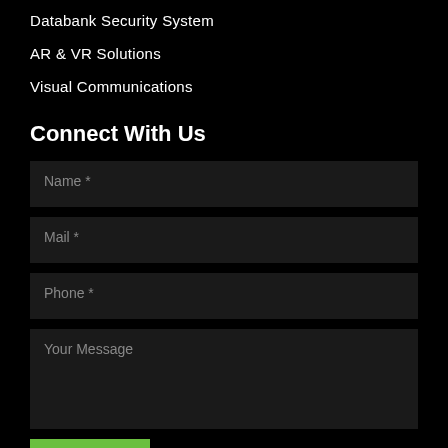Databank Security System
AR & VR Solutions
Visual Communications
Connect With Us
Name *
Mail *
Phone *
Your Message